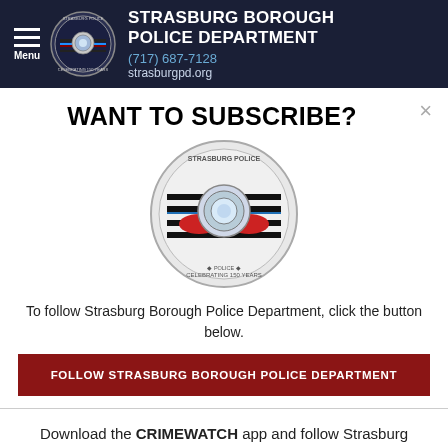STRASBURG BOROUGH POLICE DEPARTMENT | (717) 687-7128 | strasburgpd.org
WANT TO SUBSCRIBE?
[Figure (logo): Strasburg Borough Police Department circular badge/coin logo celebrating 150 years, with blue line flag design]
To follow Strasburg Borough Police Department, click the button below.
FOLLOW STRASBURG BOROUGH POLICE DEPARTMENT
Download the CRIMEWATCH app and follow Strasburg Borough Police Department